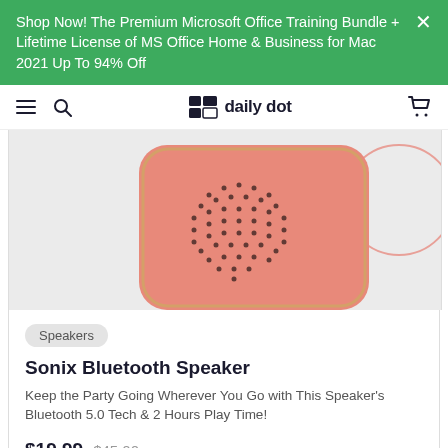Shop Now! The Premium Microsoft Office Training Bundle + Lifetime License of MS Office Home & Business for Mac 2021 Up To 94% Off
daily dot
[Figure (photo): Close-up photo of a coral/salmon colored Sonix Bluetooth Speaker with a dot-grid heart pattern on its face, shown against a light gray background with part of a circular speaker visible on the right side.]
Speakers
Sonix Bluetooth Speaker
Keep the Party Going Wherever You Go with This Speaker's Bluetooth 5.0 Tech & 2 Hours Play Time!
$19.99 $45.00